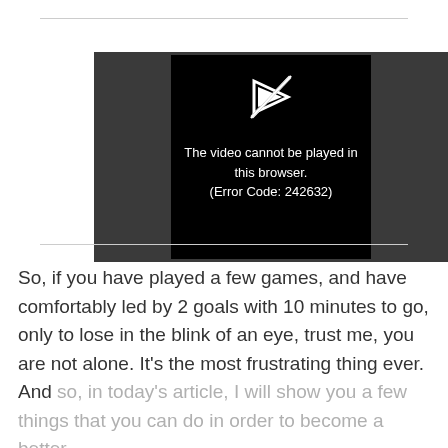[Figure (screenshot): A video player showing an error message on a dark background. The center black box displays a broken video icon (arrow with a slash) and the text: 'The video cannot be played in this browser. (Error Code: 242632)']
So, if you have played a few games, and have comfortably led by 2 goals with 10 minutes to go, only to lose in the blink of an eye, trust me, you are not alone. It's the most frustrating thing ever. And so, in today's article, I will show you a few things that you can do in order to become a better